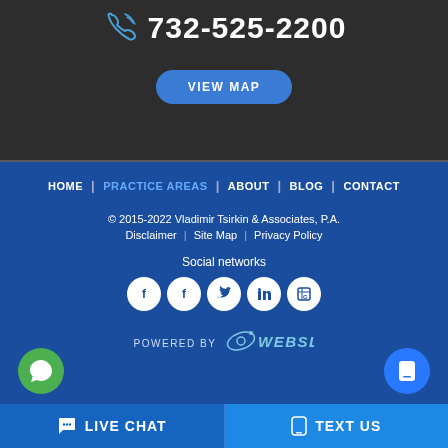732-525-2200
[Figure (illustration): Blue phone/call icon]
VIEW MAP
HOME | PRACTICE AREAS | ABOUT | BLOG | CONTACT
© 2015-2022 Vladimir Tsirkin & Associates, P.A.
Disclaimer | Site Map | Privacy Policy
Social networks
[Figure (illustration): Social media icons: Facebook, Facebook, Twitter, LinkedIn, Google Business]
POWERED BY WEBSLAW
LIVE CHAT
TEXT US